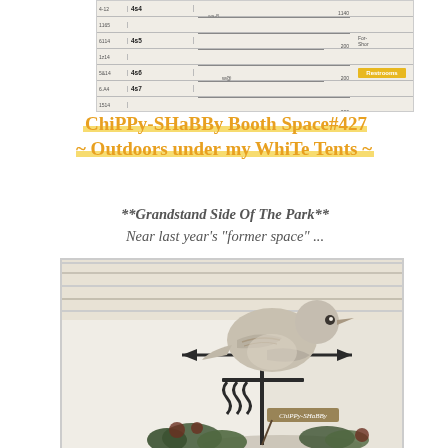[Figure (map): Fair or market floor plan map showing booth numbers including 424, 425, 426, 427, with a yellow Restrooms badge]
ChiPPy-SHaBBy Booth Space#427 ~ Outdoors under my WhiTe Tents ~
**Grandstand Side Of The Park** Near last year's "former space" ...
[Figure (photo): Close-up photo of a decorative stone/ceramic bird figurine on a weathervane or iron stand, with chippy white painted wooden background. Small 'Chippy-Shabby' label visible.]